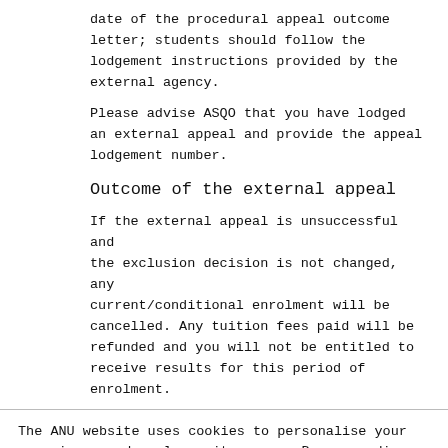date of the procedural appeal outcome letter; students should follow the lodgement instructions provided by the external agency.
Please advise ASQO that you have lodged an external appeal and provide the appeal lodgement number.
Outcome of the external appeal
If the external appeal is unsuccessful and the exclusion decision is not changed, any current/conditional enrolment will be cancelled. Any tuition fees paid will be refunded and you will not be entitled to receive results for this period of enrolment.
The ANU website uses cookies to personalise your experience and analyse site usage. By proceeding, you consent to our use of cookies. Personal information will be handled in accordance with the ANU Privacy Policy